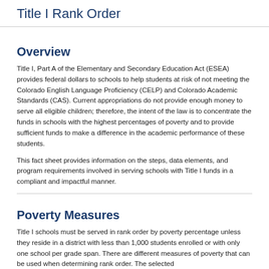Title I Rank Order
Overview
Title I, Part A of the Elementary and Secondary Education Act (ESEA) provides federal dollars to schools to help students at risk of not meeting the Colorado English Language Proficiency (CELP) and Colorado Academic Standards (CAS). Current appropriations do not provide enough money to serve all eligible children; therefore, the intent of the law is to concentrate the funds in schools with the highest percentages of poverty and to provide sufficient funds to make a difference in the academic performance of these students.
This fact sheet provides information on the steps, data elements, and program requirements involved in serving schools with Title I funds in a compliant and impactful manner.
Poverty Measures
Title I schools must be served in rank order by poverty percentage unless they reside in a district with less than 1,000 students enrolled or with only one school per grade span. There are different measures of poverty that can be used when determining rank order. The selected